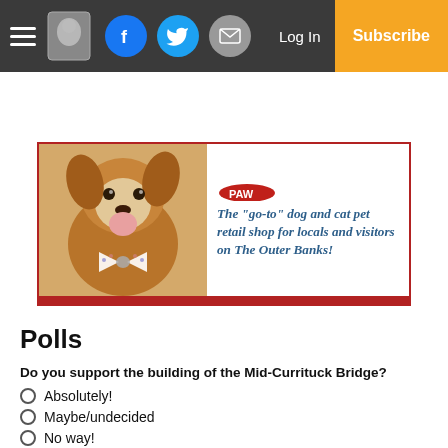Navigation bar with hamburger menu, logo, Facebook, Twitter, Email buttons, Log In, Subscribe
[Figure (photo): Pet shop advertisement showing a dog wearing a bow tie with text: The "go-to" dog and cat pet retail shop for locals and visitors on The Outer Banks!]
Polls
Do you support the building of the Mid-Currituck Bridge?
Absolutely!
Maybe/undecided
No way!